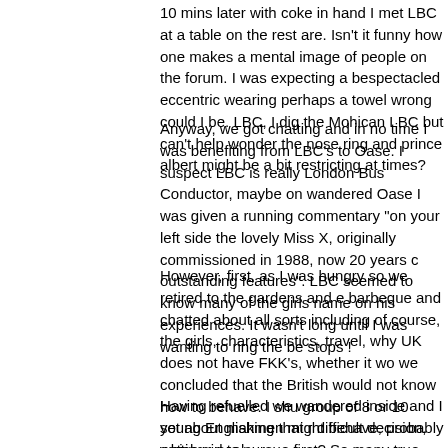10 mins later with coke in hand I met LBC at a table on the rest are. Isn't it funny how one makes a mental image of people on the forum. I was expecting a bespectacled eccentric wearing perhaps a towel wrong could I be. LBC, I dig the Mohican LBC but can't help wonder the nose ring and prince albert might be a bit restricting at times?
Anyway, we got chatting and in no time I was benefiting from LBC's to Oase. I suspect LBC is really London Bus Conductor, maybe on wandered Oase I was given a running commentary "on your left side the lovely Miss X, originally commissioned in 1988, now 20 years c outstanding features". LBC seemed to know many of the girls name on his experiences. It wasn't long until I was wanting to ring the be stops !
However, first, as I was hungry so we retired to the gardens and e barbeque and chatted about all sorts including of course, the girls, characteristics, travel, why UK does not have FKK's, whether it wo we concluded that the British would not know how to behave. I shu group of 8 or 10 young Englishmen might behave, probably getting vocal.
Whilst we may be rampant sex beasts doing dirty deeds in the roo the whole talk and act with decorum and gentlemanly manner withi forums.
Having refuelled we wandered inside and I set about making that r difficult decision, which girl to pursue first? So many true comments is something to be said for just going with the first girl that both cato